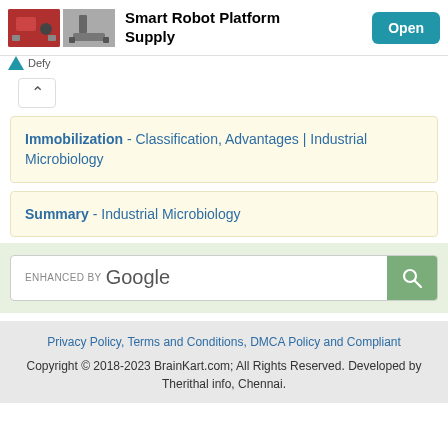[Figure (screenshot): Ad banner with robot platform images, title 'Smart Robot Platform Supply', and Open button]
Defy
^
Immobilization - Classification, Advantages | Industrial Microbiology
Summary - Industrial Microbiology
[Figure (screenshot): Enhanced by Google search bar with search icon button]
Privacy Policy, Terms and Conditions, DMCA Policy and Compliant
Copyright © 2018-2023 BrainKart.com; All Rights Reserved. Developed by Therithal info, Chennai.